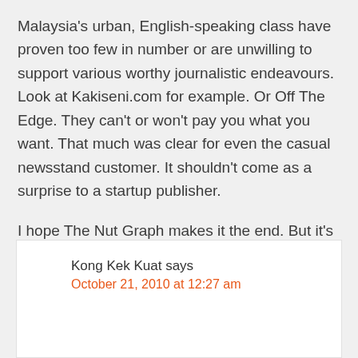Malaysia's urban, English-speaking class have proven too few in number or are unwilling to support various worthy journalistic endeavours. Look at Kakiseni.com for example. Or Off The Edge. They can't or won't pay you what you want. That much was clear for even the casual newsstand customer. It shouldn't come as a surprise to a startup publisher.
I hope The Nut Graph makes it the end. But it's better to burn out than to fade away, as someone once said.
Kong Kek Kuat says
October 21, 2010 at 12:27 am